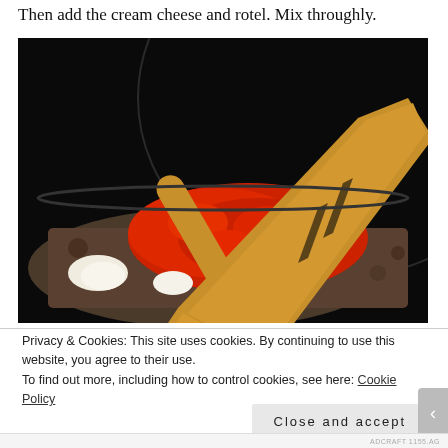Then add the cream cheese and rotel. Mix throughly.
[Figure (photo): A wooden slotted spoon mixing red tomato (rotel) and white cream cheese chunks into browned ground meat in a dark non-stick skillet on an induction cooktop.]
Privacy & Cookies: This site uses cookies. By continuing to use this website, you agree to their use.
To find out more, including how to control cookies, see here: Cookie Policy
Close and accept